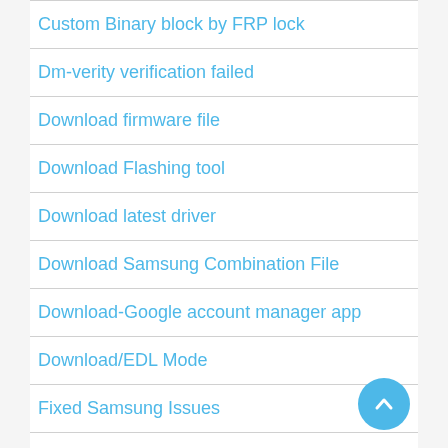Custom Binary block by FRP lock
Dm-verity verification failed
Download firmware file
Download Flashing tool
Download latest driver
Download Samsung Combination File
Download-Google account manager app
Download/EDL Mode
Fixed Samsung Issues